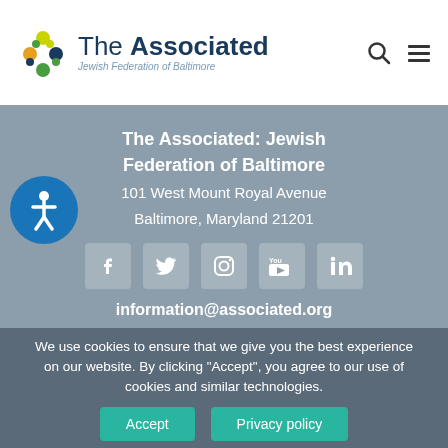[Figure (logo): The Associated: Jewish Federation of Baltimore logo with colorful star-of-david style icon]
The Associated: Jewish Federation of Baltimore
101 West Mount Royal Avenue
Baltimore, Maryland 21201
[Figure (infographic): Social media icons row: Facebook, Twitter, Instagram, YouTube, LinkedIn]
information@associated.org
We use cookies to ensure that we give you the best experience on our website. By clicking "Accept", you agree to our use of cookies and similar technologies.